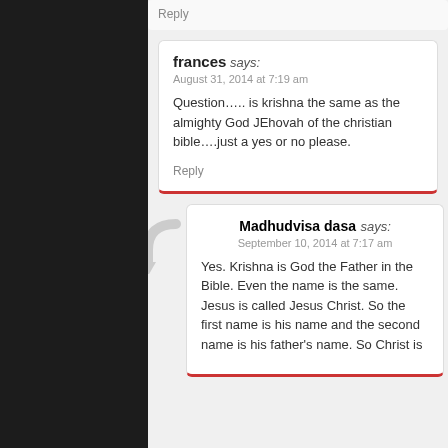Reply
frances says:
August 31, 2014 at 7:19 am
Question….. is krishna the same as the almighty God JEhovah of the christian bible….just a yes or no please.
Reply
Madhudvisa dasa says:
September 10, 2014 at 7:17 am
Yes. Krishna is God the Father in the Bible. Even the name is the same. Jesus is called Jesus Christ. So the first name is his name and the second name is his father's name. So Christ is [his father's name. And hi...]